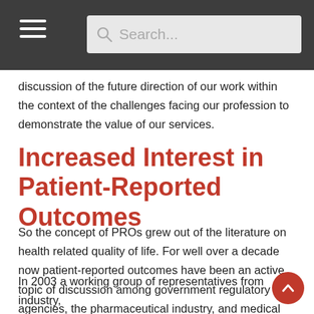[Navigation bar with hamburger menu and search box]
discussion of the future direction of our work within the context of the challenges facing our profession to demonstrate the value of our services.
Increased Interest in Patient-Reported Outcomes
So the concept of PROs grew out of the literature on health related quality of life. For well over a decade now patient-reported outcomes have been an active topic of discussion among government regulatory agencies, the pharmaceutical industry, and medical outcomes researchers.
In 2003 a working group of representatives from industry,